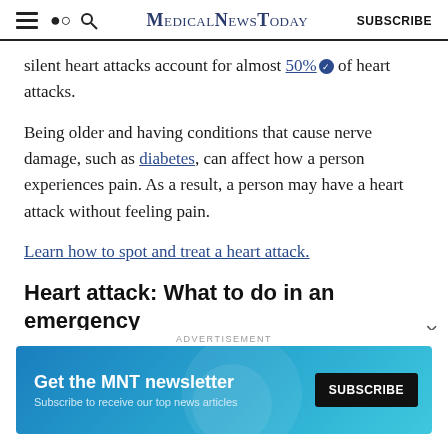MedicalNewsToday SUBSCRIBE
silent heart attacks account for almost 50% of heart attacks.
Being older and having conditions that cause nerve damage, such as diabetes, can affect how a person experiences pain. As a result, a person may have a heart attack without feeling pain.
Learn how to spot and treat a heart attack.
Heart attack: What to do in an emergency
If a person thinks that they or the person they are with
ADVERTISEMENT
[Figure (infographic): MNT newsletter subscription advertisement banner with teal/blue gradient background. Text: 'Get the MNT newsletter' and 'Subscribe to receive our top news articles'. Black SUBSCRIBE button on the right.]